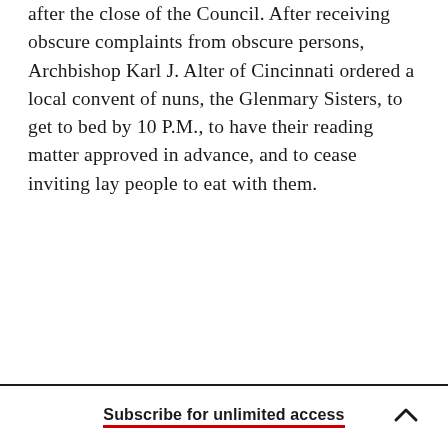after the close of the Council. After receiving obscure complaints from obscure persons, Archbishop Karl J. Alter of Cincinnati ordered a local convent of nuns, the Glenmary Sisters, to get to bed by 10 P.M., to have their reading matter approved in advance, and to cease inviting lay people to eat with them.
Subscribe for unlimited access